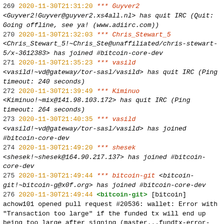269 2020-11-30T21:31:20 *** Guyver2 <Guyver2!Guyver@guyver2.xs4all.nl> has quit IRC (Quit: Going offline, see ya! (www.adiirc.com))
270 2020-11-30T21:32:03 *** Chris_Stewart_5 <Chris_Stewart_5!~Chris_Ste@unaffiliated/chris-stewart-5/x-3612383> has joined #bitcoin-core-dev
271 2020-11-30T21:35:23 *** vasild <vasild!~vd@gateway/tor-sasl/vasild> has quit IRC (Ping timeout: 240 seconds)
272 2020-11-30T21:39:49 *** Kiminuo <Kiminuo!~mix@141.98.103.172> has quit IRC (Ping timeout: 264 seconds)
273 2020-11-30T21:40:35 *** vasild <vasild!~vd@gateway/tor-sasl/vasild> has joined #bitcoin-core-dev
274 2020-11-30T21:49:20 *** shesek <shesek!~shesek@164.90.217.137> has joined #bitcoin-core-dev
275 2020-11-30T21:49:44 *** bitcoin-git <bitcoin-git!~bitcoin-g@x0f.org> has joined #bitcoin-core-dev
276 2020-11-30T21:49:44 <bitcoin-git> [bitcoin] achow101 opened pull request #20536: wallet: Error with "Transaction too large" if the funded tx will end up being too large after signing (master...fundtx-error-large-tx) https://github.com/bitcoin/bitcoin/pull/20536
277 2020-11-30T21:49:45 *** bitcoin-git <bitcoin-git!~bitcoin-g@x0f.org> has left #bitcoin-core-dev
278 2020-11-30T21:57:17 *** HELPME1245a